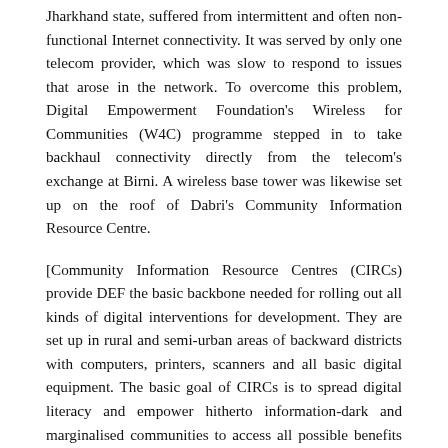Jharkhand state, suffered from intermittent and often non-functional Internet connectivity. It was served by only one telecom provider, which was slow to respond to issues that arose in the network. To overcome this problem, Digital Empowerment Foundation's Wireless for Communities (W4C) programme stepped in to take backhaul connectivity directly from the telecom's exchange at Birni. A wireless base tower was likewise set up on the roof of Dabri's Community Information Resource Centre.
[Community Information Resource Centres (CIRCs) provide DEF the basic backbone needed for rolling out all kinds of digital interventions for development. They are set up in rural and semi-urban areas of backward districts with computers, printers, scanners and all basic digital equipment. The basic goal of CIRCs is to spread digital literacy and empower hitherto information-dark and marginalised communities to access all possible benefits of digital inclusion and access to the global information super highway.]